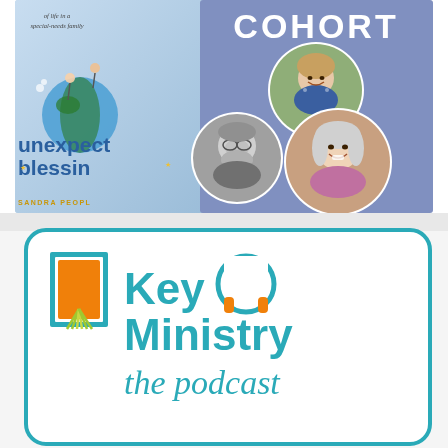[Figure (photo): Composite promotional image showing a book cover ('Unexpected Blessings' by Sandra Peoples) overlapping with a blue 'COHORT' banner, with circular portrait photos of two women and one man overlaid on the composition.]
[Figure (logo): Key Ministry the podcast logo card with teal rounded rectangle border, orange door icon on the left, headphones icon integrated into text, and 'Key Ministry the podcast' in teal text.]